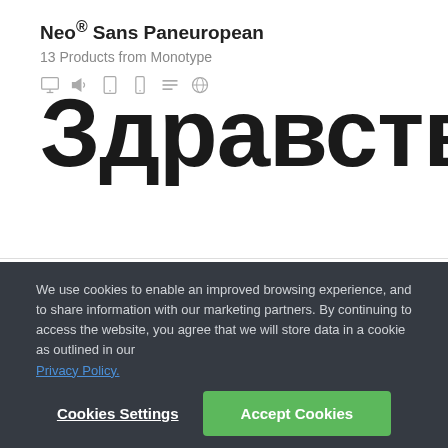Neo® Sans Paneuropean
13 Products from Monotype
[Figure (other): Row of usage/platform icons: desktop, speaker/megaphone, tablet, mobile, text/lines, globe]
Здравств
We use cookies to enable an improved browsing experience, and to share information with our marketing partners. By continuing to access the website, you agree that we will store data in a cookie as outlined in our Privacy Policy.
Cookies Settings
Accept Cookies